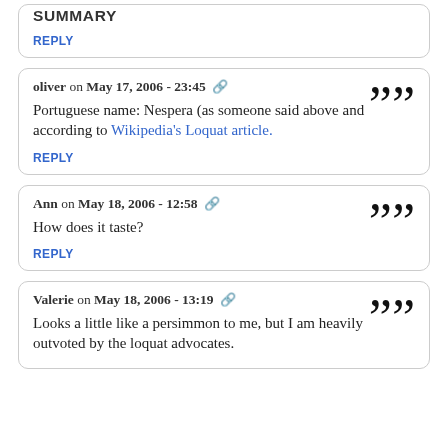SUMMARY
REPLY
oliver on May 17, 2006 - 23:45
Portuguese name: Nespera (as someone said above and according to Wikipedia's Loquat article.
REPLY
Ann on May 18, 2006 - 12:58
How does it taste?
REPLY
Valerie on May 18, 2006 - 13:19
Looks a little like a persimmon to me, but I am heavily outvoted by the loquat advocates.